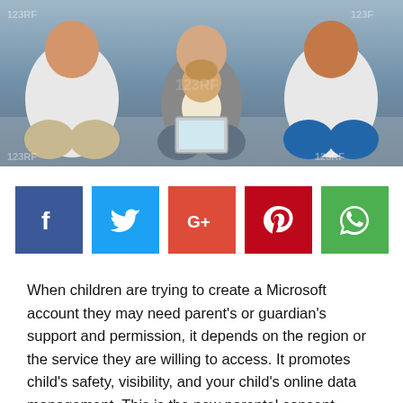[Figure (photo): Family photo: two adults and a toddler sitting together looking at a tablet device, with watermark text '123RF' visible in corners]
[Figure (infographic): Social media share buttons row: Facebook (dark blue), Twitter (light blue), Google+ (red-orange), Pinterest (dark red), WhatsApp (green)]
When children are trying to create a Microsoft account they may need parent's or guardian's support and permission, it depends on the region or the service they are willing to access. It promotes child's safety, visibility, and your child's online data management. This is the new parental consent certification for children account. At the of the process and